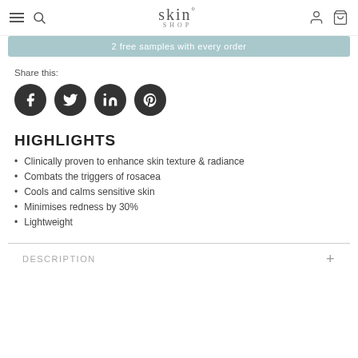skin° SHOP
2 free samples with every order
Share this:
[Figure (other): Four social media icon buttons: Facebook, Twitter, LinkedIn, Pinterest]
HIGHLIGHTS
Clinically proven to enhance skin texture & radiance
Combats the triggers of rosacea
Cools and calms sensitive skin
Minimises redness by 30%
Lightweight
DESCRIPTION